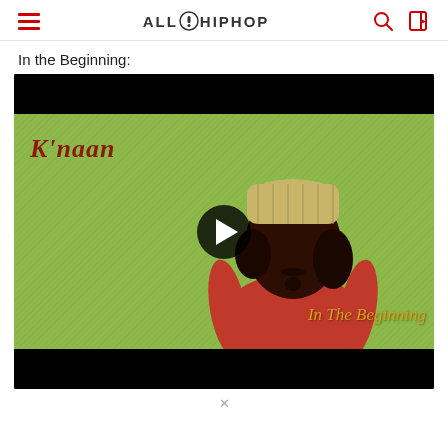ALL HIPHOP
In the Beginning:
[Figure (screenshot): Video thumbnail for K'naan - In The Beginning. Shows a man wearing a woven cap against a bright green/lime textured wall background. Text 'K'naan' appears in dark red on the left and 'In The Beginning' appears in golden/yellow italic text at the bottom right. A play button (dark circle with white triangle) is centered over the image. Black letterbox bars appear at top and bottom of the video frame.]